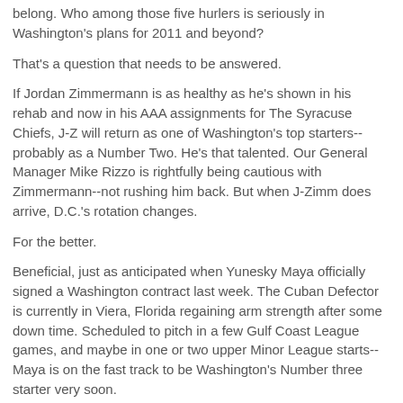belong. Who among those five hurlers is seriously in Washington's plans for 2011 and beyond?
That's a question that needs to be answered.
If Jordan Zimmermann is as healthy as he's shown in his rehab and now in his AAA assignments for The Syracuse Chiefs, J-Z will return as one of Washington's top starters--probably as a Number Two. He's that talented. Our General Manager Mike Rizzo is rightfully being cautious with Zimmermann--not rushing him back. But when J-Zimm does arrive, D.C.'s rotation changes.
For the better.
Beneficial, just as anticipated when Yunesky Maya officially signed a Washington contract last week. The Cuban Defector is currently in Viera, Florida regaining arm strength after some down time. Scheduled to pitch in a few Gulf Coast League games, and maybe in one or two upper Minor League starts--Maya is on the fast track to be Washington's Number three starter very soon.